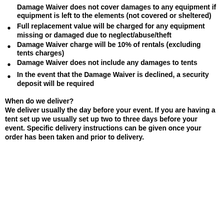Damage Waiver does not cover damages to any equipment if equipment is left to the elements (not covered or sheltered)
Full replacement value will be charged for any equipment missing or damaged due to neglect/abuse/theft
Damage Waiver charge will be 10% of rentals (excluding tents charges)
Damage Waiver does not include any damages to tents
In the event that the Damage Waiver is declined, a security deposit will be required
When do we deliver?
We deliver usually the day before your event. If you are having a tent set up we usually set up two to three days before your event. Specific delivery instructions can be given once your order has been taken and prior to delivery.